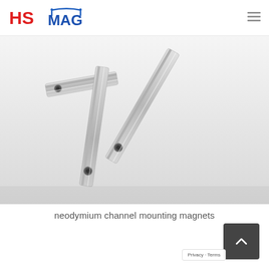HSMAG
[Figure (photo): Three neodymium channel mounting magnets (silver/chrome colored, elongated bar shape with countersunk holes) arranged on a white surface, shot from above at an angle.]
neodymium channel mounting magnets